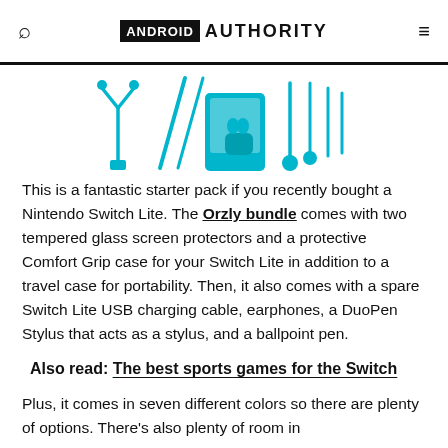ANDROID AUTHORITY
[Figure (photo): Teal/turquoise colored Nintendo Switch Lite accessories including cables, styluses, earphones, a case, and other items arranged on a white background]
This is a fantastic starter pack if you recently bought a Nintendo Switch Lite. The Orzly bundle comes with two tempered glass screen protectors and a protective Comfort Grip case for your Switch Lite in addition to a travel case for portability. Then, it also comes with a spare Switch Lite USB charging cable, earphones, a DuoPen Stylus that acts as a stylus, and a ballpoint pen.
Also read: The best sports games for the Switch
Plus, it comes in seven different colors so there are plenty of options. There’s also plenty of room in